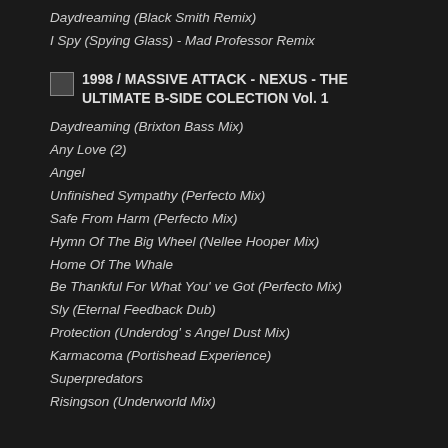Daydreaming (Black Smith Remix)
I Spy (Spying Glass) - Mad Professor Remix
1998 / MASSIVE ATTACK - NEXUS - THE ULTIMATE B-SIDE COLECTION Vol. 1
Daydreaming (Brixton Bass Mix)
Any Love (2)
Angel
Unfinished Sympathy (Perfecto Mix)
Safe From Harm (Perfecto Mix)
Hymn Of The Big Wheel (Nellee Hooper Mix)
Home Of The Whale
Be Thankful For What You' ve Got (Perfecto Mix)
Sly (Eternal Feedback Dub)
Protection (Underdog' s Angel Dust Mix)
Karmacoma (Portishead Experience)
Superpredators
Risingson (Underworld Mix)